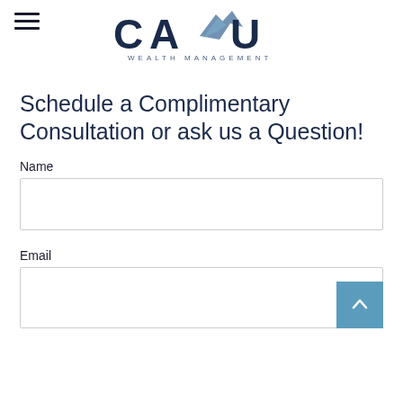[Figure (logo): CAYU Wealth Management logo with stylized bird/chevron graphic in dark blue and slate blue tones]
Schedule a Complimentary Consultation or ask us a Question!
Name
Email